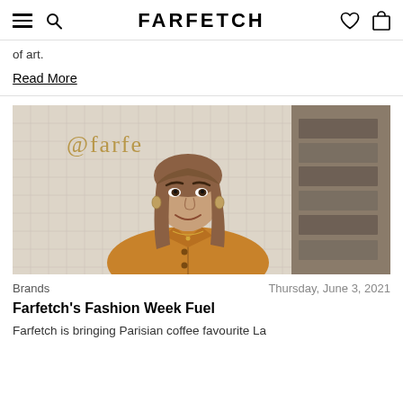FARFETCH
of art.
Read More
[Figure (photo): A smiling young woman with shoulder-length hair wearing a mustard/golden yellow button-up jacket, standing in front of a white tile wall with '@farfe' text visible in gold lettering and shelves of packages to the right.]
Brands     Thursday, June 3, 2021
Farfetch's Fashion Week Fuel
Farfetch is bringing Parisian coffee favourite La